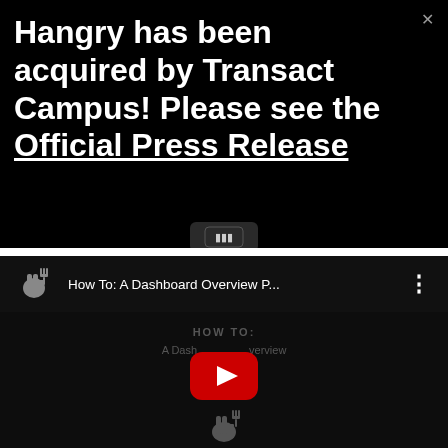Hangry has been acquired by Transact Campus! Please see the Official Press Release
[Figure (screenshot): YouTube video thumbnail showing 'How To: A Dashboard Overview P...' with channel logo (fist holding fork), video title bar, three-dot menu, and YouTube play button overlay on dark background with 'HOW TO: A Dashboard Overview' text]